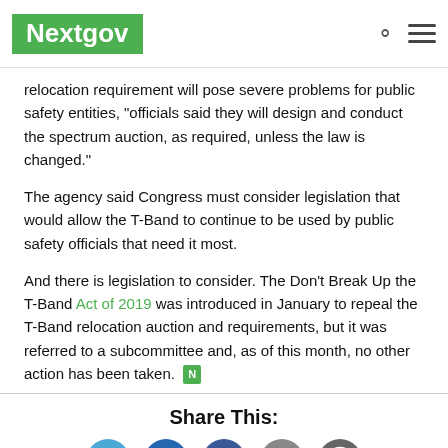Nextgov
relocation requirement will pose severe problems for public safety entities, "officials said they will design and conduct the spectrum auction, as required, unless the law is changed."
The agency said Congress must consider legislation that would allow the T-Band to continue to be used by public safety officials that need it most.
And there is legislation to consider. The Don't Break Up the T-Band Act of 2019 was introduced in January to repeal the T-Band relocation auction and requirements, but it was referred to a subcommittee and, as of this month, no other action has been taken.
Share This:
[Figure (other): Social sharing icons: Twitter, LinkedIn, Facebook, Email, Comments]